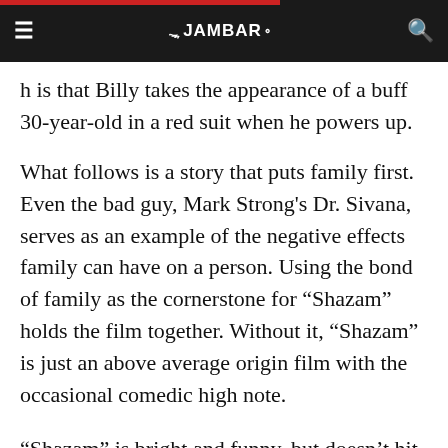THE JAMBAR
h is that Billy takes the appearance of a buff 30-year-old in a red suit when he powers up.
What follows is a story that puts family first. Even the bad guy, Mark Strong's Dr. Sivana, serves as an example of the negative effects family can have on a person. Using the bond of family as the cornerstone for “Shazam” holds the film together. Without it, “Shazam” is just an above average origin film with the occasional comedic high note.
“Shazam” is bright and funny, but doesn’t hit enough high notes to keep it from dragging. There are more low-hanging jump scares than clever twists, and the film ultimately doesn’t give the audience anything to marvel over (no pun intended). What “Shazam” does get right is building off of moral ground. By showing